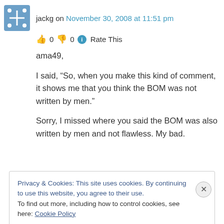jackg on November 30, 2008 at 11:51 pm
👍 0 👎 0 ℹ Rate This
ama49,
I said, “So, when you make this kind of comment, it shows me that you think the BOM was not written by men.”
Sorry, I missed where you said the BOM was also written by men and not flawless. My bad.
Privacy & Cookies: This site uses cookies. By continuing to use this website, you agree to their use.
To find out more, including how to control cookies, see here: Cookie Policy